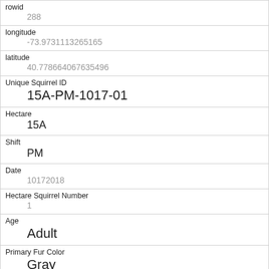| rowid | 288 |
| longitude | -73.9731113265165 |
| latitude | 40.778664067635496 |
| Unique Squirrel ID | 15A-PM-1017-01 |
| Hectare | 15A |
| Shift | PM |
| Date | 10172018 |
| Hectare Squirrel Number | 1 |
| Age | Adult |
| Primary Fur Color | Gray |
| Highlight Fur Color |  |